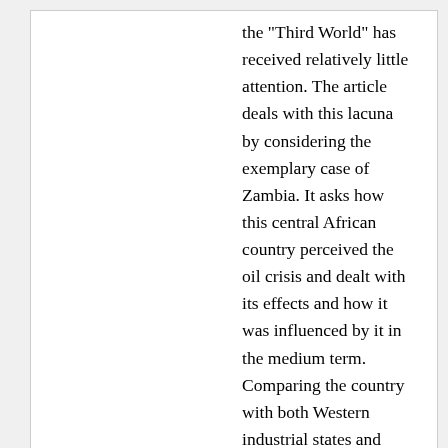the "Third World" has received relatively little attention. The article deals with this lacuna by considering the exemplary case of Zambia. It asks how this central African country perceived the oil crisis and dealt with its effects and how it was influenced by it in the medium term. Comparing the country with both Western industrial states and other "developing countries," the essay argues that Zambia